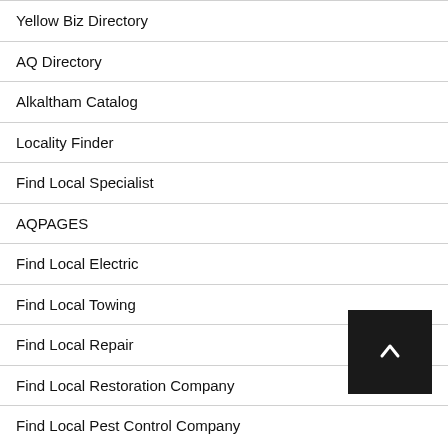Yellow Biz Directory
AQ Directory
Alkaltham Catalog
Locality Finder
Find Local Specialist
AQPAGES
Find Local Electric
Find Local Towing
Find Local Repair
Find Local Restoration Company
Find Local Pest Control Company